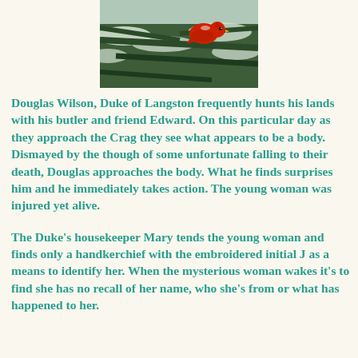[Figure (photo): A red cardinal bird perched on snow-dusted evergreen pine branches in winter.]
Douglas Wilson, Duke of Langston frequently hunts his lands with his butler and friend Edward. On this particular day as they approach the Crag they see what appears to be a body. Dismayed by the though of some unfortunate falling to their death, Douglas approaches the body. What he finds surprises him and he immediately takes action. The young woman was injured yet alive.
The Duke's housekeeper Mary tends the young woman and finds only a handkerchief with the embroidered initial J as a means to identify her. When the mysterious woman wakes it's to find she has no recall of her name, who she's from or what has happened to her.